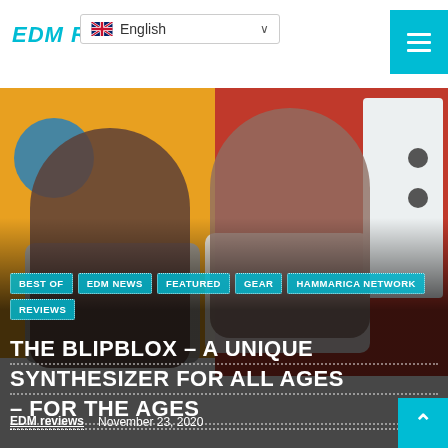EDM Reviews
English
[Figure (photo): Two young boys playing with colorful toys in a classroom setting, with a white synthesizer device between them. Colorful background with yellow, red, and blue elements.]
BEST OF   EDM NEWS   FEATURED   GEAR   HAMMARICA NETWORK   REVIEWS
THE BLIPBLOX – A UNIQUE SYNTHESIZER FOR ALL AGES – FOR THE AGES
EDM reviews   November 23, 2020